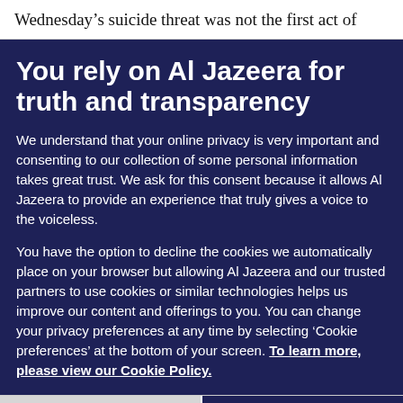Wednesday’s suicide threat was not the first act of
You rely on Al Jazeera for truth and transparency
We understand that your online privacy is very important and consenting to our collection of some personal information takes great trust. We ask for this consent because it allows Al Jazeera to provide an experience that truly gives a voice to the voiceless.
You have the option to decline the cookies we automatically place on your browser but allowing Al Jazeera and our trusted partners to use cookies or similar technologies helps us improve our content and offerings to you. You can change your privacy preferences at any time by selecting ‘Cookie preferences’ at the bottom of your screen. To learn more, please view our Cookie Policy.